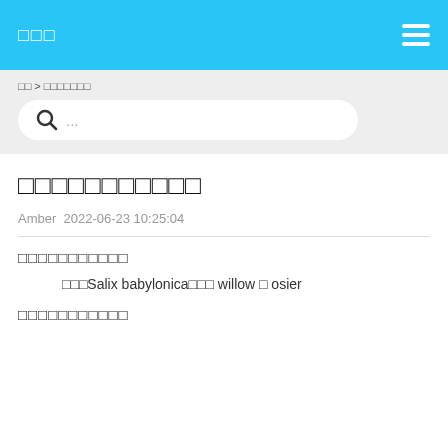□□□  ≡
□□ > □□□□□□□
🔍 ...
□□□□□□□□□□□
Amber  2022-06-23 10:25:04
□□□□□□□□□□□
□□□Salix babylonica□□□ willow □ osier
□□□□□□□□□□□